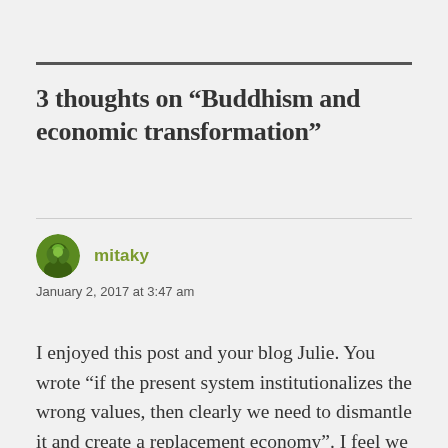3 thoughts on “Buddhism and economic transformation”
[Figure (photo): Green circular avatar of user mitaky]
mitaky
January 2, 2017 at 3:47 am
I enjoyed this post and your blog Julie. You wrote “if the present system institutionalizes the wrong values, then clearly we need to dismantle it and create a replacement economy”. I feel we just need to recognize and embrace the right values of generosity or